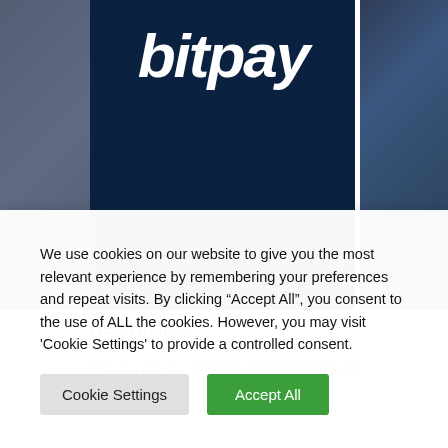[Figure (logo): BitPay logo on dark navy blue background banner]
Read more...
This is a preview of "BitPay Joins Demandware...
We use cookies on our website to give you the most relevant experience by remembering your preferences and repeat visits. By clicking “Accept All”, you consent to the use of ALL the cookies. However, you may visit 'Cookie Settings' to provide a controlled consent.